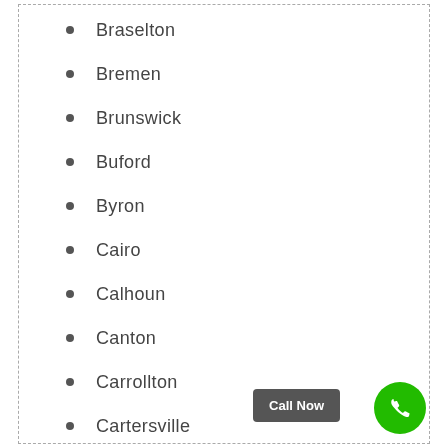Braselton
Bremen
Brunswick
Buford
Byron
Cairo
Calhoun
Canton
Carrollton
Cartersville